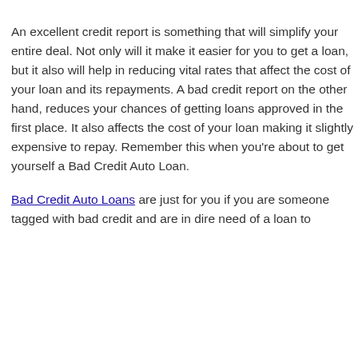An excellent credit report is something that will simplify your entire deal. Not only will it make it easier for you to get a loan, but it also will help in reducing vital rates that affect the cost of your loan and its repayments. A bad credit report on the other hand, reduces your chances of getting loans approved in the first place. It also affects the cost of your loan making it slightly expensive to repay. Remember this when you're about to get yourself a Bad Credit Auto Loan.
Bad Credit Auto Loans are just for you if you are someone tagged with bad credit and are in dire need of a loan to